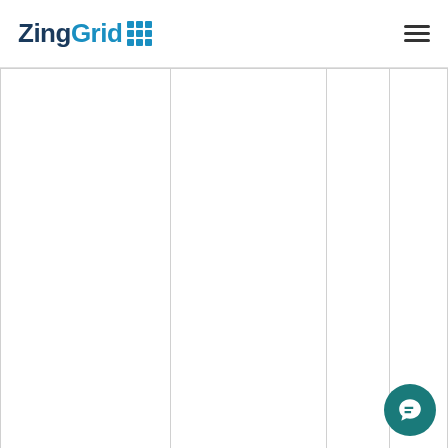ZingGrid
| Property | Default | Set |  |
| --- | --- | --- | --- |
|  |  | order of sorted head cells |  |
| --zg-head-cell-color | Browser's default value | Set | ↗ |